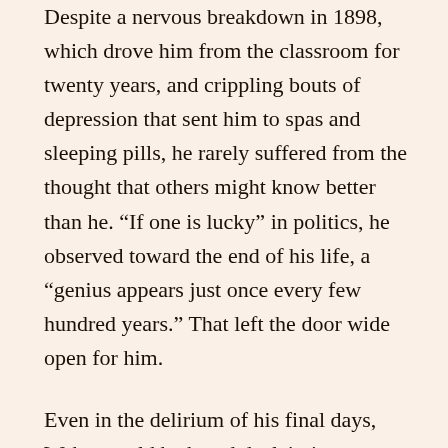Despite a nervous breakdown in 1898, which drove him from the classroom for twenty years, and crippling bouts of depression that sent him to spas and sleeping pills, he rarely suffered from the thought that others might know better than he. “If one is lucky” in politics, he observed toward the end of his life, a “genius appears just once every few hundred years.” That left the door wide open for him.
Even in the delirium of his final days, Weber could be heard declaiming on behalf of the German people, jousting with their enemies in several of the many languages he knew. So appointed for politics did he seem that the philosopher Karl Jaspers, his close friend and